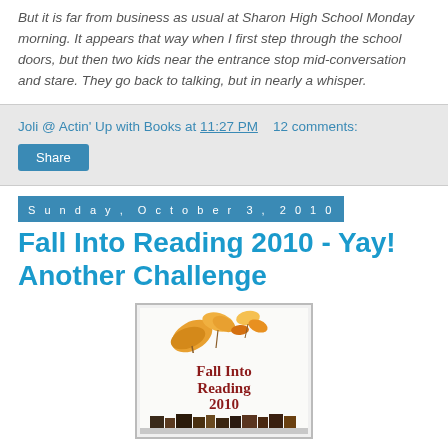But it is far from business as usual at Sharon High School Monday morning. It appears that way when I first step through the school doors, but then two kids near the entrance stop mid-conversation and stare. They go back to talking, but in nearly a whisper.
Joli @ Actin' Up with Books at 11:27 PM    12 comments:
Share
Sunday, October 3, 2010
Fall Into Reading 2010 - Yay! Another Challenge
[Figure (illustration): Book cover image for Fall Into Reading 2010 challenge, featuring autumn leaves (orange and yellow) in the upper portion and stacked books at the bottom, with text 'Fall Into Reading 2010' in dark red serif font on a white/cream background.]